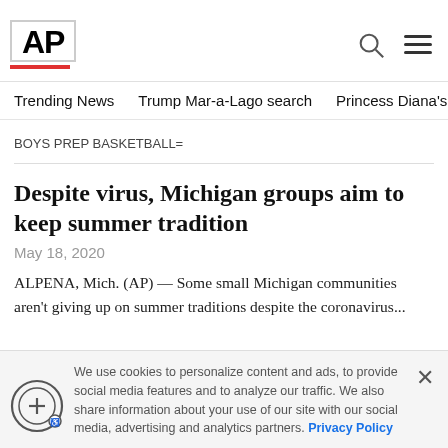AP
Trending News  Trump Mar-a-Lago search  Princess Diana's dea
BOYS PREP BASKETBALL=
Despite virus, Michigan groups aim to keep summer tradition
May 18, 2020
ALPENA, Mich. (AP) — Some small Michigan communities aren't giving up on summer traditions despite the coronavirus...
We use cookies to personalize content and ads, to provide social media features and to analyze our traffic. We also share information about your use of our site with our social media, advertising and analytics partners. Privacy Policy